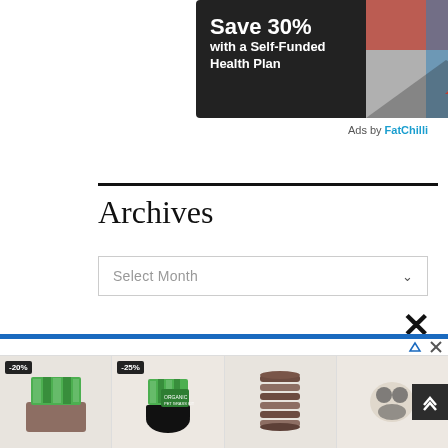[Figure (photo): Advertisement banner: dark background with text 'Save 30% with a Self-Funded Health Plan' and Claim logo on right side with person image]
Ads by FatChilli
Archives
[Figure (screenshot): Select Month dropdown widget]
[Figure (photo): Bottom advertisement strip showing pet grass products with discount badges -20%, -25%, stacked soil discs, and cat-themed products. Close X button visible. Scroll up button on right.]